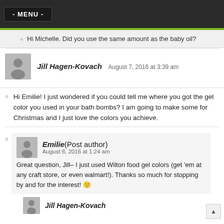- MENU -
Hi Michelle. Did you use the same amount as the baby oil?
Jill Hagen-Kovach  August 7, 2016 at 3:39 am
Hi Emilie! I just wondered if you could tell me where you got the gel color you used in your bath bombs? I am going to make some for Christmas and I just love the colors you achieve.
Emilie (Post author)  August 8, 2016 at 1:24 am
Great question, Jill– I just used Wilton food gel colors (get 'em at any craft store, or even walmart!). Thanks so much for stopping by and for the interest! 🙂
Jill Hagen-Kovach